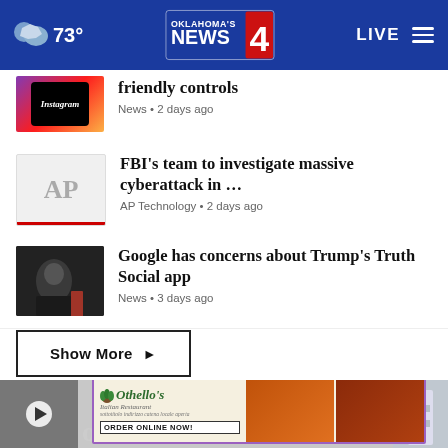73° Oklahoma's News 4 LIVE
friendly controls
News • 2 days ago
FBI's team to investigate massive cyberattack in …
AP Technology • 2 days ago
Google has concerns about Trump's Truth Social app
News • 3 days ago
Show More ▸
ABORTION BATTLE ▸
[Figure (screenshot): Bottom partial article image strip with video thumbnail and advertisement banner for Othello's Italian Restaurant with ORDER ONLINE NOW!]